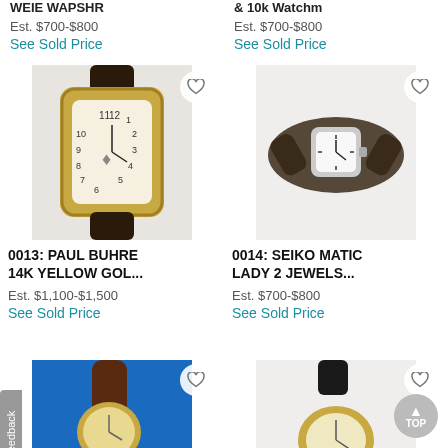WEIE WAPSHR (truncated title, top-left)
Est. $700-$800
See Sold Price
& 10k Watchm (truncated title, top-right)
Est. $700-$800
See Sold Price
[Figure (photo): Vintage Paul Buhre 14K yellow gold rectangular wristwatch with engraved case and dark leather strap, white dial with Masonic emblem]
0013: PAUL BUHRE 14K YELLOW GOL...
Est. $1,100-$1,500
See Sold Price
[Figure (photo): Seiko Matic Lady 2 Jewels watch with square white dial and dark brown leather strap]
0014: SEIKO MATIC LADY 2 JEWELS...
Est. $700-$800
See Sold Price
[Figure (photo): Partial view of wristwatch with brown leather strap on blue background, bottom of page]
[Figure (photo): Partial view of round gold-toned wristwatch with black leather strap, bottom of page]